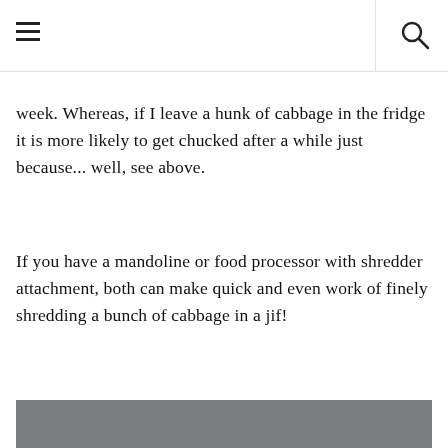[hamburger menu icon] [search icon]
week. Whereas, if I leave a hunk of cabbage in the fridge it is more likely to get chucked after a while just because... well, see above.
If you have a mandoline or food processor with shredder attachment, both can make quick and even work of finely shredding a bunch of cabbage in a jif!
[Figure (photo): A dark bowl containing dark berries/blueberries on a wooden surface, with a light-colored jar or bottle nearby, against a grey background.]